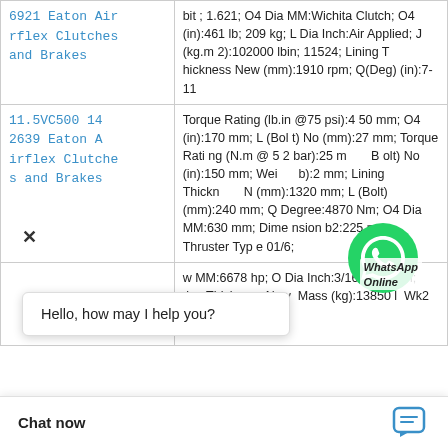| Product | Specifications |
| --- | --- |
| 6921 Eaton Airflex Clutches and Brakes | bit; 1.621; O4 Dia MM:Wichita Clutch; O4 (in):461 lb; 209 kg; L Dia Inch:Air Applied; J (kg.m2):102000 lbin; 11524; Lining Thickness New (mm):1910 rpm; Q(Deg) (in):7-11 |
| 11.5VC500 142639 Eaton Airflex Clutches and Brakes | Torque Rating (lb.in @75 psi):450 mm; O4 (in):170 mm; L (Bolt) No (mm):27 mm; Torque Rating (N.m @ 5 2 bar):25 mm; (Bolt) No (in):150 mm; Weight (lb):2 mm; Lining Thickness New (mm):1320 mm; L (Bolt) (mm):240 mm; Q Degree:4870 Nm; O4 Dia MM:630 mm; Dimension b2:225 mm; Thruster Type 01/6; |
|  | w MM:6678 hp; O Dia Inch:3/16 in; 1/4 in; Lining Thickness New Mass (kg):13850 l Wk2 (lb.ft2):700 r |
[Figure (screenshot): WhatsApp Online chat widget overlay with green WhatsApp icon and 'Hello, how may I help you?' popup bubble, plus 'Chat now' bar at the bottom.]